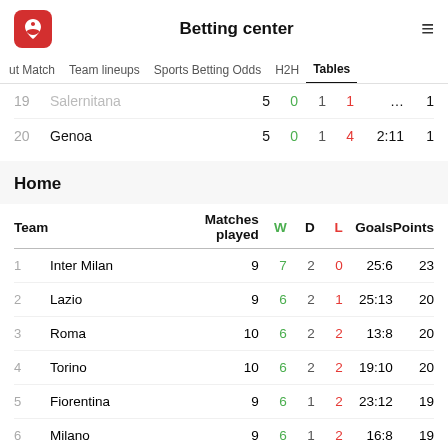Betting center
ut Match   Team lineups   Sports Betting Odds   H2H   Tables
|  | Team | Matches played | W | D | L | Goals | Points |
| --- | --- | --- | --- | --- | --- | --- | --- |
| 19 | Salernitana | 5 | 0 | 1 | 1 | ... | 1 |
| 20 | Genoa | 5 | 0 | 1 | 4 | 2:11 | 1 |
Home
|  | Team | Matches played | W | D | L | Goals | Points |
| --- | --- | --- | --- | --- | --- | --- | --- |
| 1 | Inter Milan | 9 | 7 | 2 | 0 | 25:6 | 23 |
| 2 | Lazio | 9 | 6 | 2 | 1 | 25:13 | 20 |
| 3 | Roma | 10 | 6 | 2 | 2 | 13:8 | 20 |
| 4 | Torino | 10 | 6 | 2 | 2 | 19:10 | 20 |
| 5 | Fiorentina | 9 | 6 | 1 | 2 | 23:12 | 19 |
| 6 | Milano | 9 | 6 | 1 | 2 | 16:8 | 19 |